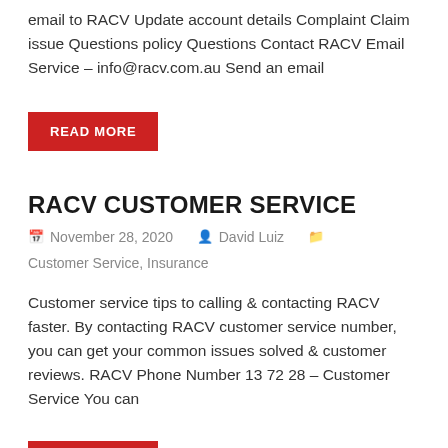email to RACV Update account details Complaint Claim issue Questions policy Questions Contact RACV Email Service – info@racv.com.au Send an email
READ MORE
RACV CUSTOMER SERVICE
November 28, 2020  David Luiz  Customer Service, Insurance
Customer service tips to calling & contacting RACV faster. By contacting RACV customer service number, you can get your common issues solved & customer reviews. RACV Phone Number 13 72 28 – Customer Service You can
READ MORE